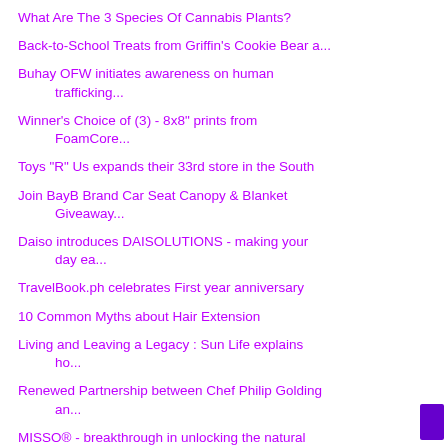What Are The 3 Species Of Cannabis Plants?
Back-to-School Treats from Griffin's Cookie Bear a...
Buhay OFW initiates awareness on human trafficking...
Winner's Choice of (3) - 8x8" prints from FoamCore...
Toys "R" Us expands their 33rd store in the South
Join BayB Brand Car Seat Canopy & Blanket Giveaway...
Daiso introduces DAISOLUTIONS - making your day ea...
TravelBook.ph celebrates First year anniversary
10 Common Myths about Hair Extension
Living and Leaving a Legacy : Sun Life explains ho...
Renewed Partnership between Chef Philip Golding an...
MISSO® - breakthrough in unlocking the natural beauty
Meet the New Owners of River Green Residences...